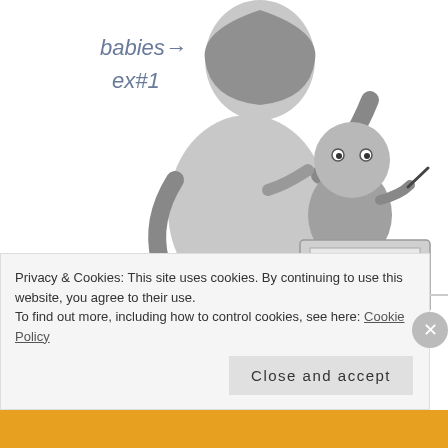[Figure (illustration): Hand-drawn comic illustration in grayscale showing two characters. Text annotation on left reads 'babies→ ex#1'. One character in a hoodie is being leaned on by another character who appears to be a small mascot/creature working on a laptop/tablet at a desk.]
I understand I'll be better off if I buckle down and work now, but why does it have to be so hard?
Why am I so incredibly unmotivated to the point where I'd rather go to bed early than do even what I love to do? Where things are feeling so repetitive and tedious that I
Privacy & Cookies: This site uses cookies. By continuing to use this website, you agree to their use.
To find out more, including how to control cookies, see here: Cookie Policy
Close and accept